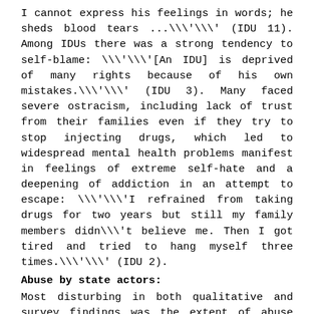I cannot express his feelings in words; he sheds blood tears ...\\'\\'\\' (IDU 11). Among IDUs there was a strong tendency to self-blame: \\'\\'[An IDU] is deprived of many rights because of his own mistakes.\\'\\' (IDU 3). Many faced severe ostracism, including lack of trust from their families even if they try to stop injecting drugs, which led to widespread mental health problems manifest in feelings of extreme self-hate and a deepening of addiction in an attempt to escape: \\'\\'I refrained from taking drugs for two years but still my family members didn\\'t believe me. Then I got tired and tried to hang myself three times.\\'\\'\\' (IDU 2).
Abuse by state actors:
Most disturbing in both qualitative and survey findings was the extent of abuse and complicity by state actors, particularly